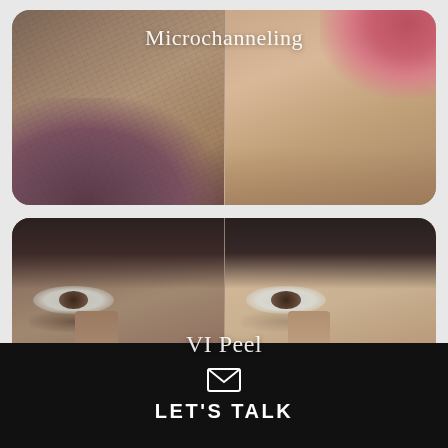[Figure (photo): Before and after comparison of Microchanneling treatment. Left panel shows close-up of skin texture with visible wrinkles and discoloration. Right panel shows smoother skin after treatment. Label 'Microchanneling' overlaid in white text at top center.]
[Figure (photo): Before and after comparison of VI Peel treatment. Left panel shows face with under-eye circles and uneven skin tone. Right panel shows improved skin with reduced pigmentation. Label 'VI Peel' overlaid in white text at center.]
LET'S TALK